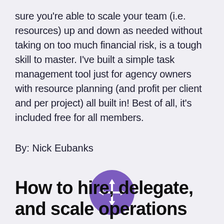sure you're able to scale your team (i.e. resources) up and down as needed without taking on too much financial risk, is a tough skill to master. I've built a simple task management tool just for agency owners with resource planning (and profit per client and per project) all built in! Best of all, it's included free for all members.
By: Nick Eubanks
[Figure (illustration): Purple circular button with white four-directional arrow/move icon in the center]
How to hire, delegate, and scale operations